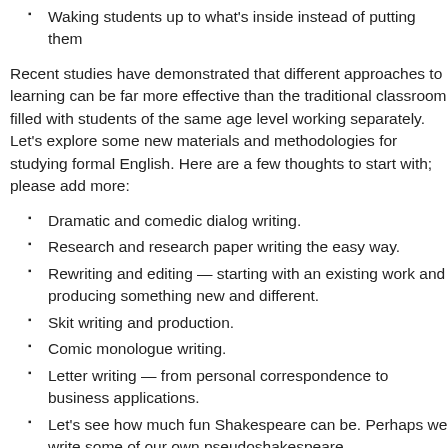Waking students up to what's inside instead of putting them
Recent studies have demonstrated that different approaches to learning can be far more effective than the traditional classroom filled with students of the same age level working separately. Let's explore some new materials and methodologies for studying formal English. Here are a few thoughts to start with; please add more:
Dramatic and comedic dialog writing.
Research and research paper writing the easy way.
Rewriting and editing — starting with an existing work and producing something new and different.
Skit writing and production.
Comic monologue writing.
Letter writing — from personal correspondence to business applications.
Let's see how much fun Shakespeare can be. Perhaps we write some of our own pseudoshakespeare.
Collaborative story writing — groups of different sizes working
Completing and publishing our literary journal issue and sta